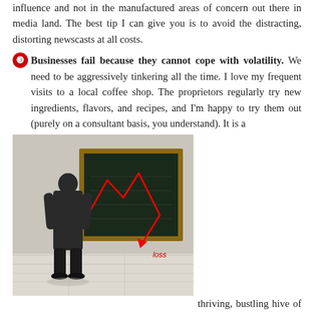influence and not in the manufactured areas of concern out there in media land. The best tip I can give you is to avoid the distracting, distorting newscasts at all costs.
❸ Businesses fail because they cannot cope with volatility. We need to be aggressively tinkering all the time. I love my frequent visits to a local coffee shop. The proprietors regularly try new ingredients, flavors, and recipes, and I'm happy to try them out (purely on a consultant basis, you understand). It is a thriving, bustling hive of terrific customer service. Aggressive tinkering is the engine of growth for ALL small businesses, if targeted on total customer service.
[Figure (photo): A person in a dark suit standing with their back to the viewer, looking at a chalkboard that shows a red line graph with a downward arrow pointing to the word 'loss' written on the wall below.]